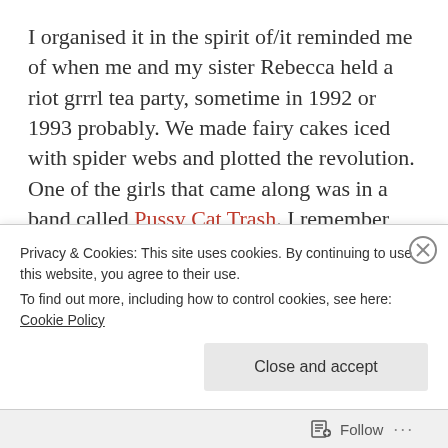I organised it in the spirit of/it reminded me of when me and my sister Rebecca held a riot grrrl tea party, sometime in 1992 or 1993 probably. We made fairy cakes iced with spider webs and plotted the revolution. One of the girls that came along was in a band called Pussy Cat Trash. I remember seeing her play a song at a dingy club in Sunderland, a song for a friend. I forget what is was called but the essence of the song was a wish that her ‘arms could stretch to be there for you now’. It was a love song, a song of regret felt for not being there for someone, for
Privacy & Cookies: This site uses cookies. By continuing to use this website, you agree to their use.
To find out more, including how to control cookies, see here: Cookie Policy
Close and accept
Follow